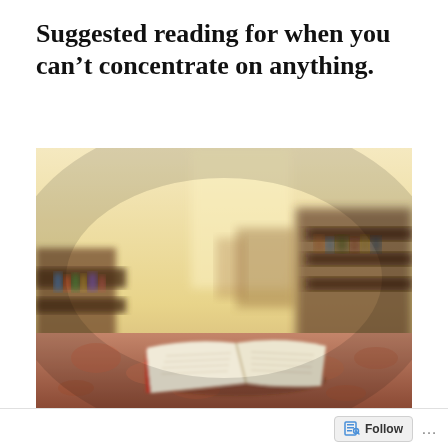Suggested reading for when you can't concentrate on anything.
[Figure (photo): A blurred, warm-toned photograph of an open book lying on a bed with floral bedding, with a bookshelf in the blurred background.]
What do you know about the world today?
Follow ...